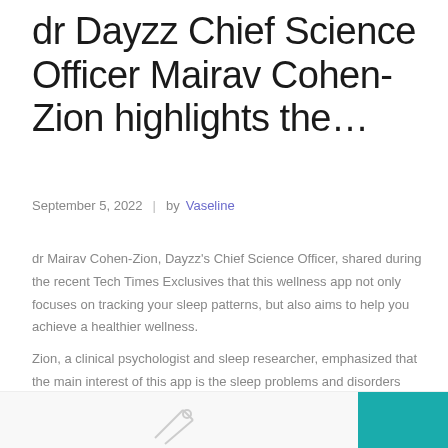dr Dayzz Chief Science Officer Mairav Cohen-Zion highlights the…
September 5, 2022  |  by Vaseline
dr Mairav Cohen-Zion, Dayzz's Chief Science Officer, shared during the recent Tech Times Exclusives that this wellness app not only focuses on tracking your sleep patterns, but also aims to help you achieve a healthier wellness.
Zion, a clinical psychologist and sleep researcher, emphasized that the main interest of this app is the sleep problems and disorders people suffer from. This app tries to bring sleep science to the organization and startup.
[Figure (illustration): Partial view of an illustration with icons and a teal rectangle at the bottom right corner of the page]